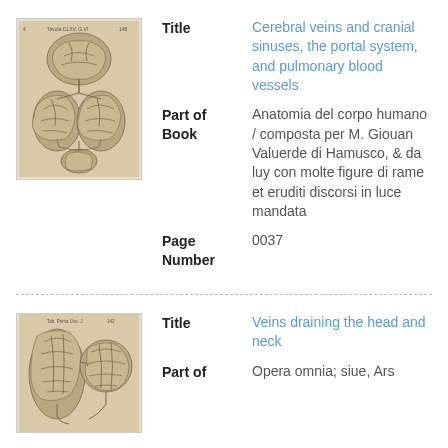[Figure (illustration): Antique anatomical illustration of cerebral veins and cranial structures, sepia/grayscale engraving]
Title
Cerebral veins and cranial sinuses, the portal system, and pulmonary blood vessels
Part of Book
Anatomia del corpo humano / composta per M. Giouan Valuerde di Hamusco, & da luy con molte figure di rame et eruditi discorsi in luce mandata
Page Number
0037
[Figure (illustration): Antique anatomical illustration of veins draining the head and neck, sepia/grayscale engraving]
Title
Veins draining the head and neck
Part of
Opera omnia; siue, Ars